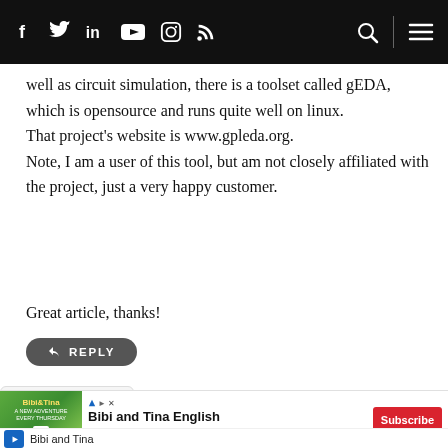Navigation bar with social icons (Facebook, Twitter, LinkedIn, YouTube, Instagram, RSS) and search/menu controls
well as circuit simulation, there is a toolset called gEDA, which is opensource and runs quite well on linux.
That project's website is www.gpleda.org.
Note, I am a user of this tool, but am not closely affiliated with the project, just a very happy customer.
Great article, thanks!
REPLY
[Figure (screenshot): Advertisement banner for Bibi and Tina English YouTube channel with Subscribe button]
Bibi and Tina